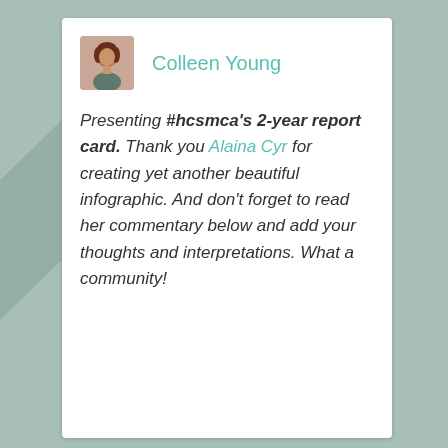[Figure (screenshot): A social media post card by Colleen Young with a profile photo avatar, author name in teal, and italic post text with a teal linked name (Alaina Cyr). Decorative infographic shapes visible on the left edge.]
Colleen Young
Presenting #hcsmca's 2-year report card. Thank you Alaina Cyr for creating yet another beautiful infographic. And don't forget to read her commentary below and add your thoughts and interpretations. What a community!